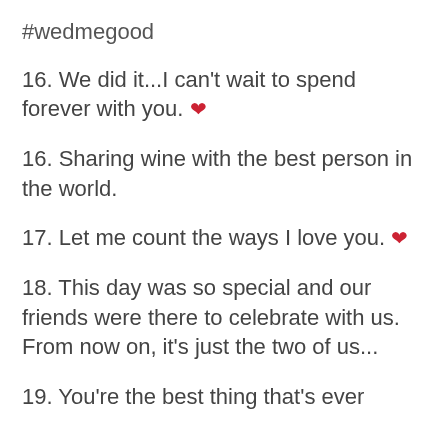#wedmegood
16. We did it...I can’t wait to spend forever with you. ❤
16. Sharing wine with the best person in the world.
17. Let me count the ways I love you. ❤
18. This day was so special and our friends were there to celebrate with us. From now on, it’s just the two of us...
19. You’re the best thing that’s ever